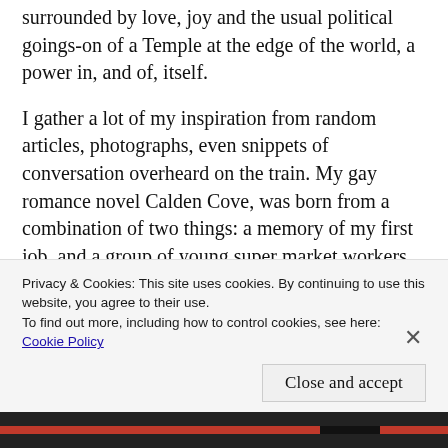surrounded by love, joy and the usual political goings-on of a Temple at the edge of the world, a power in, and of, itself.
I gather a lot of my inspiration from random articles, photographs, even snippets of conversation overheard on the train. My gay romance novel Calden Cove, was born from a combination of two things: a memory of my first job, and a group of young super market workers sitting in a park laughing. As I walked past them I saw in my mind a secluded beach, a two man tent and t...
Privacy & Cookies: This site uses cookies. By continuing to use this website, you agree to their use.
To find out more, including how to control cookies, see here: Cookie Policy
Close and accept